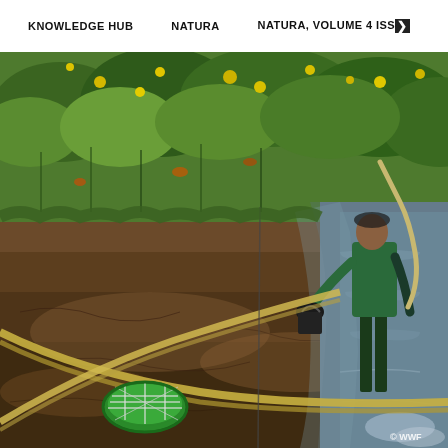KNOWLEDGE HUB    NATURA    NATURA, VOLUME 4 ISSUE
[Figure (photo): A person standing in muddy water next to an agricultural field with green crops (including yellow-flowering plants), carrying a bucket and holding a hose or pipe. The foreground shows brown muddy soil with a green circular sieve/strainer and hoses/bamboo poles lying on the ground. A water channel runs along the right side. Photo credit: © WWF]